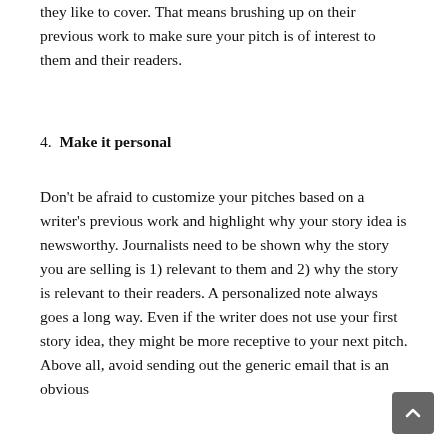they like to cover. That means brushing up on their previous work to make sure your pitch is of interest to them and their readers.
4. Make it personal
Don't be afraid to customize your pitches based on a writer's previous work and highlight why your story idea is newsworthy. Journalists need to be shown why the story you are selling is 1) relevant to them and 2) why the story is relevant to their readers. A personalized note always goes a long way. Even if the writer does not use your first story idea, they might be more receptive to your next pitch. Above all, avoid sending out the generic email that is an obvious